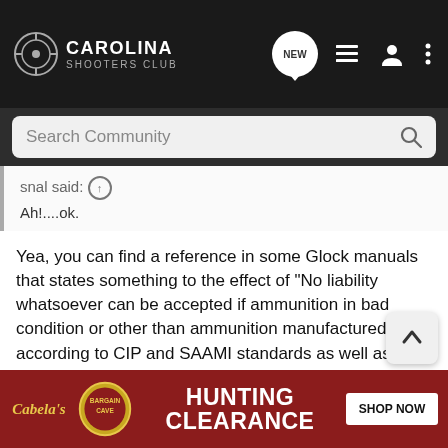[Figure (screenshot): Carolina Shooters Club website navigation bar with logo, NEW button, list icon, user icon, and menu icon]
[Figure (screenshot): Search Community search bar]
snal said: ↑
Ah!....ok.
Yea, you can find a reference in some Glock manuals that states something to the effect of "No liability whatsoever can be accepted if ammunition in bad condition or other than ammunition manufactured according to CIP and SAAMI standards as well as reloaded ammunition is used." Some Glock manuals have no such reference.
In any event, I view it as pretty much a standard disclaimer. Glock doesn't want to accept responsibility for any reloads, often construed to be lead. The simple fact is that while reloading is common. One can the e
[Figure (screenshot): Cabela's Bargain Cave Hunting Clearance Shop Now advertisement banner]